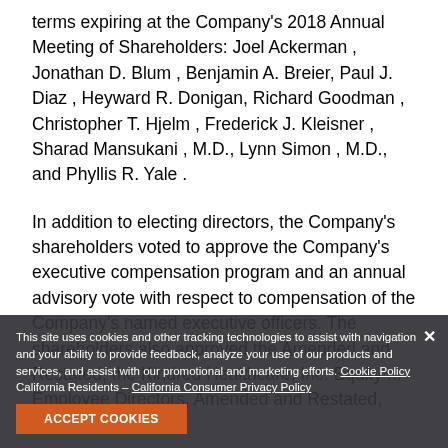terms expiring at the Company's 2018 Annual Meeting of Shareholders: Joel Ackerman , Jonathan D. Blum , Benjamin A. Breier, Paul J. Diaz , Heyward R. Donigan, Richard Goodman , Christopher T. Hjelm , Frederick J. Kleisner , Sharad Mansukani , M.D., Lynn Simon , M.D., and Phyllis R. Yale .
In addition to electing directors, the Company's shareholders voted to approve the Company's executive compensation program and an annual advisory vote with respect to compensation of the Company's named executive officers. The shareholders also approved the Amended and Restated, the Kindred Healthcare, Inc. Equity ... Employee Directors, Amended and Restated, and ratified the...
This site uses cookies and other tracking technologies to assist with navigation and your ability to provide feedback, analyze your use of our products and services, and assist with our promotional and marketing efforts. Cookie Policy California Residents – California Consumer Privacy Policy